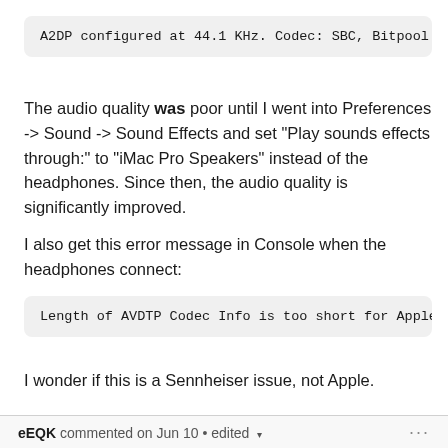A2DP configured at 44.1 KHz. Codec: SBC, Bitpool: 5…
The audio quality was poor until I went into Preferences -> Sound -> Sound Effects and set "Play sounds effects through:" to "iMac Pro Speakers" instead of the headphones. Since then, the audio quality is significantly improved.
I also get this error message in Console when the headphones connect:
Length of AVDTP Codec Info is too short for Apple V…
I wonder if this is a Sennheiser issue, not Apple.
eEQK commented on Jun 10 • edited
My wh-1000xm3 kept using SBC but after connecting them to